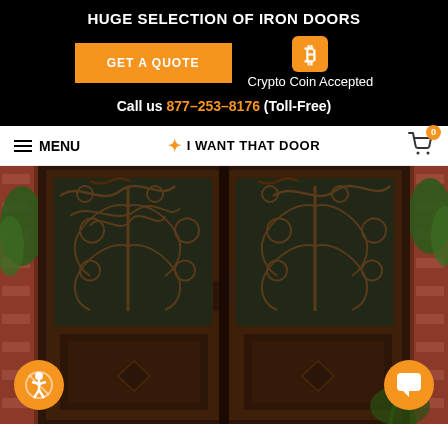HUGE SELECTION OF IRON DOORS
GET A QUOTE | Crypto Coin Accepted
Call us 877-253-8176 (Toll-Free)
≡ MENU | ✦ I WANT THAT DOOR | Cart 0
[Figure (photo): Ornate wrought iron double entry door with scrollwork design set in a brick wall with greenery on both sides]